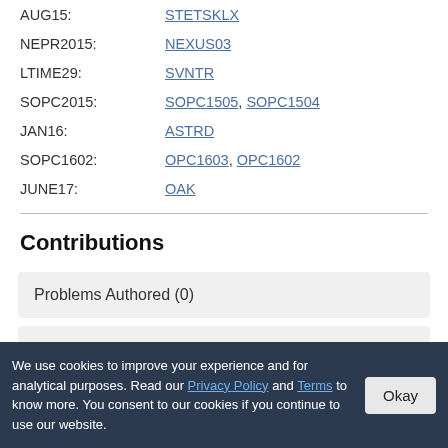AUG15: STETSKLX
NEPR2015: NEXUS03
LTIME29: SVNTR
SOPC2015: SOPC1505, SOPC1504
JAN16: ASTRD
SOPC1602: OPC1603, OPC1602
JUNE17: OAK
Contributions
Problems Authored (0)
Problems Tested (0)
We use cookies to improve your experience and for analytical purposes. Read our Privacy Policy and Terms to know more. You consent to our cookies if you continue to use our website.